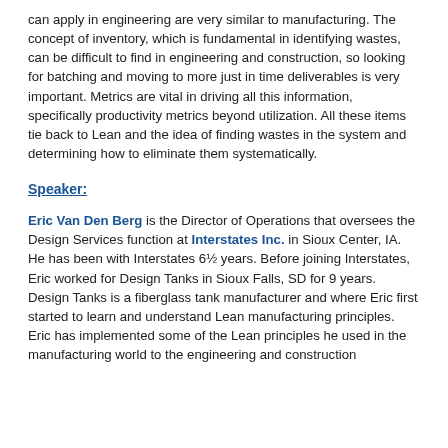can apply in engineering are very similar to manufacturing. The concept of inventory, which is fundamental in identifying wastes, can be difficult to find in engineering and construction, so looking for batching and moving to more just in time deliverables is very important. Metrics are vital in driving all this information, specifically productivity metrics beyond utilization. All these items tie back to Lean and the idea of finding wastes in the system and determining how to eliminate them systematically.
Speaker:
Eric Van Den Berg is the Director of Operations that oversees the Design Services function at Interstates Inc. in Sioux Center, IA. He has been with Interstates 6½ years. Before joining Interstates, Eric worked for Design Tanks in Sioux Falls, SD for 9 years. Design Tanks is a fiberglass tank manufacturer and where Eric first started to learn and understand Lean manufacturing principles. Eric has implemented some of the Lean principles he used in the manufacturing world to the engineering and construction...